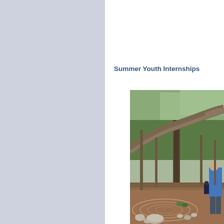Summer Youth Internships
[Figure (photo): Outdoor forest scene with trees, a large leaning tree trunk, and a circular stone/rock labyrinth pattern on the ground. A person in a blue shirt is visible on the right side.]